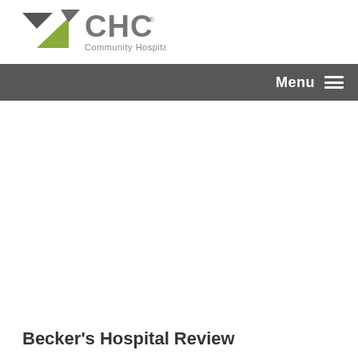[Figure (logo): CHC Community Hospital Corporation logo with green and grey geometric bird/arrow mark and grey CHC text with 'Community Hospital Corporation' below]
Menu ≡
Becker's Hospital Review